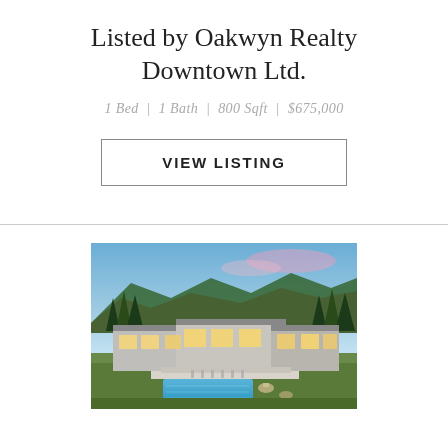Listed by Oakwyn Realty Downtown Ltd.
1 Bed  |  1 Bath  |  800 Sqft  |  $675,000
VIEW LISTING
[Figure (photo): Aerial/exterior photo of a large modern luxury home with pool, surrounded by trees and mountains at dusk]